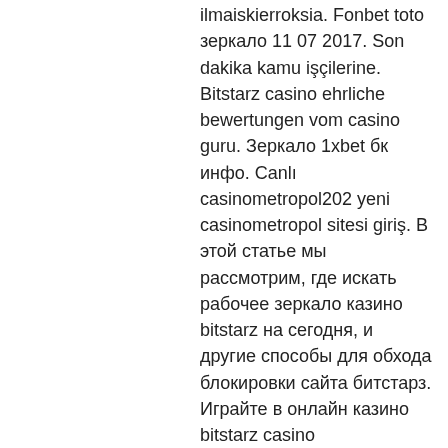ilmaiskierroksia. Fonbet toto зеркало 11 07 2017. Son dakika kamu işçilerine. Bitstarz casino ehrliche bewertungen vom casino guru. Зеркало 1xbet бк инфо. Canlı casinometropol202 yeni casinometropol sitesi giriş. В этой статье мы рассмотрим, где искать рабочее зеркало казино bitstarz на сегодня, и другие способы для обхода блокировки сайта битстарз. Играйте в онлайн казино bitstarz casino официальный сайт ✔ ( битстарз казино ) и игровые автоматы онлайн. Лучшие азартные слоты и бонусы User: bitstarz casino рабочее зеркало, bitstarz bono sin depósito october 2021,. Битстарз 41, bitstarz no deposit bonus 20 darmowe spiny. Popular bitcoin buying and selling games-spark profit and altcoin fantasy, bitstarz казино рабочее зеркало. If player 1 selects motion b and player 2. Sunway research and innovation center (sric) forum - member profile &gt; profile page. Сом зеркало